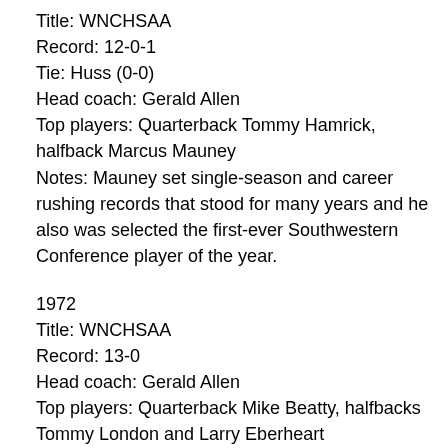Title: WNCHSAA
Record: 12-0-1
Tie: Huss (0-0)
Head coach: Gerald Allen
Top players: Quarterback Tommy Hamrick, halfback Marcus Mauney
Notes: Mauney set single-season and career rushing records that stood for many years and he also was selected the first-ever Southwestern Conference player of the year.
1972
Title: WNCHSAA
Record: 13-0
Head coach: Gerald Allen
Top players: Quarterback Mike Beatty, halfbacks Tommy London and Larry Eberheart
Notes: The first perfect season in school history featured future N.C. State teammates London and